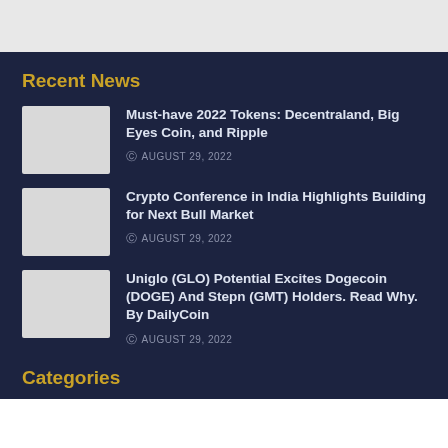Recent News
Must-have 2022 Tokens: Decentraland, Big Eyes Coin, and Ripple — AUGUST 29, 2022
Crypto Conference in India Highlights Building for Next Bull Market — AUGUST 29, 2022
Uniglo (GLO) Potential Excites Dogecoin (DOGE) And Stepn (GMT) Holders. Read Why. By DailyCoin — AUGUST 29, 2022
Categories